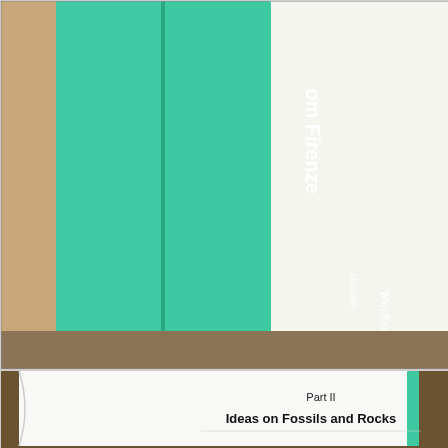[Figure (photo): Two teal/green book spines side by side showing text 'om Firenze' (partial title), with small text 'UGS 630' and 'Wim Sissingh' visible on each spine. Books resting on a wooden/brown surface.]
[Figure (photo): Open book showing a chapter divider page with text 'Part II' and 'Ideas on Fossils and Rocks'. The book has a teal/green cover visible on the right edge.]